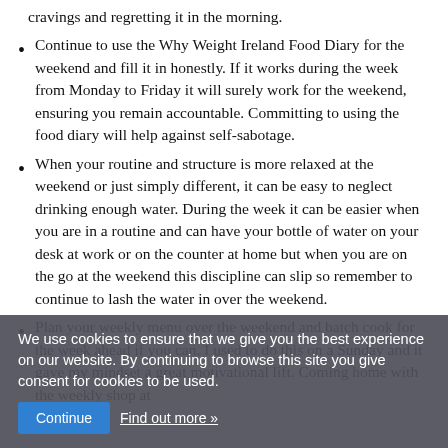cravings and regretting it in the morning.
Continue to use the Why Weight Ireland Food Diary for the weekend and fill it in honestly.  If it works during the week from Monday to Friday it will surely work for the weekend, ensuring you remain accountable.  Committing to using the food diary will help against self-sabotage.
When your routine and structure is more relaxed at the weekend or just simply different, it can be easy to neglect drinking enough water.  During the week it can be easier when you are in a routine and can have your bottle of water on your desk at work or on the counter at home but when you are on the go at the weekend this discipline can slip so remember to continue to lash the water in over the weekend.
Plan your weekly menu over the weekend and batch cook for the week ahead if you can.  I used to do this on a Sunday and it gave my mindset a great motivational lift.  Coming home with the weekly shop at
We use cookies to ensure that we give you the best experience on our website. By continuing to browse this site you give consent for cookies to be used.
Continue   Find out more »